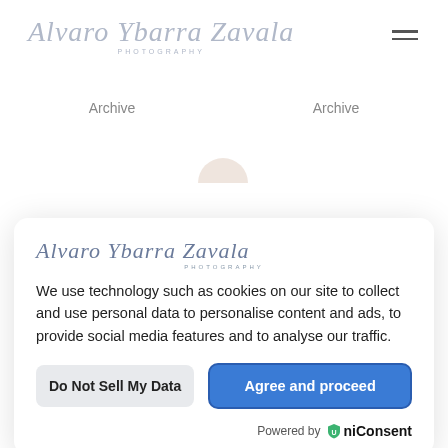Alvaro Ybarra Zavala PHOTOGRAPHY
Archive    Archive
[Figure (screenshot): Cookie consent modal popup for Alvaro Ybarra Zavala Photography website. Contains logo, consent text, two buttons (Do Not Sell My Data, Agree and proceed), and powered by UniConsent branding.]
We use technology such as cookies on our site to collect and use personal data to personalise content and ads, to provide social media features and to analyse our traffic.
Do Not Sell My Data
Agree and proceed
Powered by  UniConsent